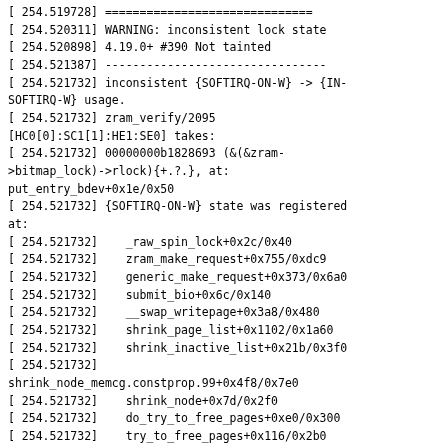[ 254.519728] ==============================
[ 254.520311] WARNING: inconsistent lock state
[ 254.520898] 4.19.0+ #390 Not tainted
[ 254.521387] --------------------------------
[ 254.521732] inconsistent {SOFTIRQ-ON-W} -> {IN-SOFTIRQ-W} usage.
[ 254.521732] zram_verify/2095 [HC0[0]:SC1[1]:HE1:SE0] takes:
[ 254.521732] 00000000b1828693 (&(&zram->bitmap_lock)->rlock){+.?.}, at: put_entry_bdev+0x1e/0x50
[ 254.521732] {SOFTIRQ-ON-W} state was registered at:
[ 254.521732]    _raw_spin_lock+0x2c/0x40
[ 254.521732]    zram_make_request+0x755/0xdc9
[ 254.521732]    generic_make_request+0x373/0x6a0
[ 254.521732]    submit_bio+0x6c/0x140
[ 254.521732]    __swap_writepage+0x3a8/0x480
[ 254.521732]    shrink_page_list+0x1102/0x1a60
[ 254.521732]    shrink_inactive_list+0x21b/0x3f0
[ 254.521732] shrink_node_memcg.constprop.99+0x4f8/0x7e0
[ 254.521732]    shrink_node+0x7d/0x2f0
[ 254.521732]    do_try_to_free_pages+0xe0/0x300
[ 254.521732]    try_to_free_pages+0x116/0x2b0
[ 254.521732] __alloc_pages_slowpath+0x3f4/0xf80
[ 254.521732] __alloc_pages_nodemask+0x2a2/0x2f0
[ 254.521732]    handle_mm_fault+0x42e/0xb50